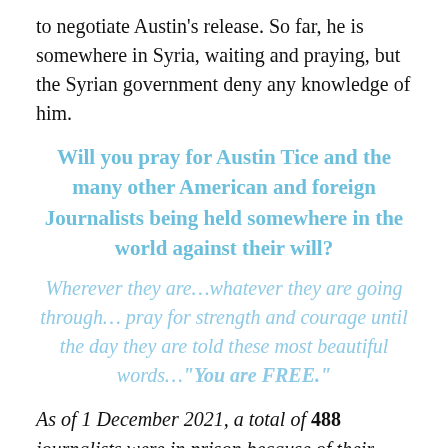to negotiate Austin's release. So far, he is somewhere in Syria, waiting and praying, but the Syrian government deny any knowledge of him.
Will you pray for Austin Tice and the many other American and foreign Journalists being held somewhere in the world against their will?
Wherever they are…whatever they are going through… pray for strength and courage until the day they are told these most beautiful words…"You are FREE."
As of 1 December 2021, a total of 488 journalists were in prison because of their work – a 20% increase in one year. This exceptional surge in arbitrary detention is mostly attributable to three countries whose governments are indifferent to their citizens' yearning for democracy.